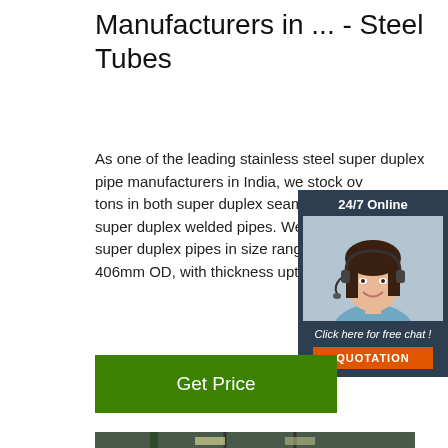Manufacturers in ... - Steel Tubes
As one of the leading stainless steel super duplex pipe manufacturers in India, we stock over tons in both super duplex seamless pipe super duplex welded pipes. We stock an super duplex pipes in size range of 12.7m 406mm OD, with thickness upto 20mm.
[Figure (other): Chat widget with 24/7 Online label, woman with headset, Click here for free chat!, QUOTATION button]
Get Price
[Figure (photo): Steel wire coils stacked in a warehouse/factory setting, with TOP badge in orange in bottom right corner]